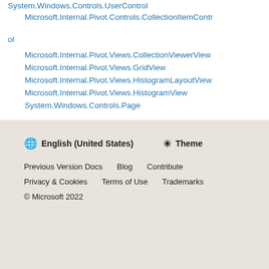System.Windows.Controls.UserControl
Microsoft.Internal.Pivot.Controls.CollectionItemControl
Microsoft.Internal.Pivot.Views.CollectionViewerView
Microsoft.Internal.Pivot.Views.GridView
Microsoft.Internal.Pivot.Views.HistogramLayoutView
Microsoft.Internal.Pivot.Views.HistogramView
System.Windows.Controls.Page
English (United States)  Theme  Previous Version Docs  Blog  Contribute  Privacy & Cookies  Terms of Use  Trademarks  © Microsoft 2022